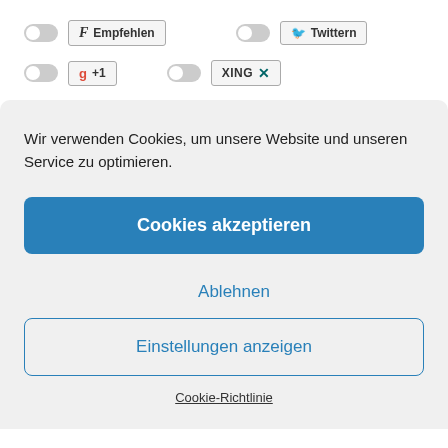[Figure (screenshot): Social sharing buttons row 1: toggle switch, Facebook Empfehlen button, toggle switch, Twitter Twittern button]
[Figure (screenshot): Social sharing buttons row 2: toggle switch, Google +1 button, toggle switch, XING button]
Wir verwenden Cookies, um unsere Website und unseren Service zu optimieren.
Cookies akzeptieren
Ablehnen
Einstellungen anzeigen
Cookie-Richtlinie